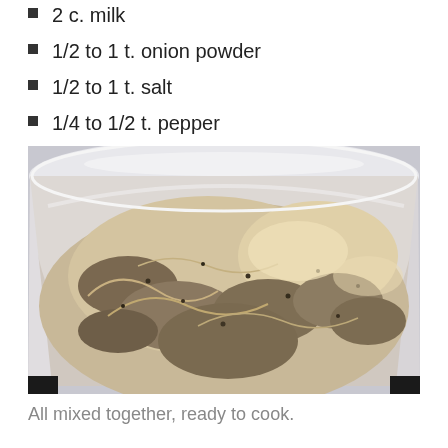2 c. milk
1/2 to 1 t. onion powder
1/2 to 1 t. salt
1/4 to 1/2 t. pepper
[Figure (photo): A slow cooker bowl containing a creamy, chunky mixture of macaroni and ground meat, all mixed together, ready to cook.]
All mixed together, ready to cook.